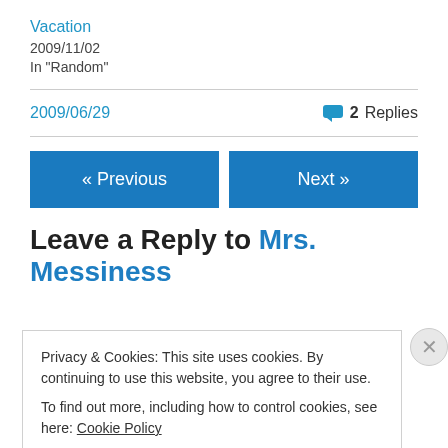Vacation
2009/11/02
In "Random"
2009/06/29
💬 2 Replies
« Previous
Next »
Leave a Reply to Mrs. Messiness
Privacy & Cookies: This site uses cookies. By continuing to use this website, you agree to their use.
To find out more, including how to control cookies, see here: Cookie Policy
Close and accept